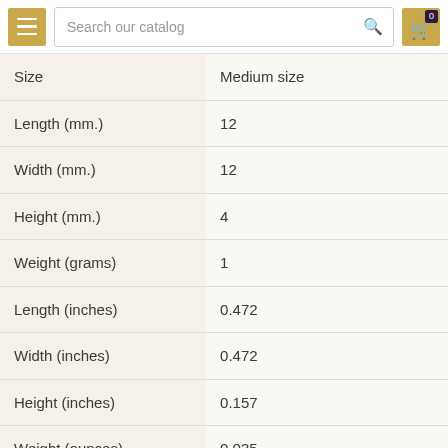Search our catalog
| Property | Value |
| --- | --- |
| Size | Medium size |
| Length (mm.) | 12 |
| Width (mm.) | 12 |
| Height (mm.) | 4 |
| Weight (grams) | 1 |
| Length (inches) | 0.472 |
| Width (inches) | 0.472 |
| Height (inches) | 0.157 |
| Weight (ounces) | 0.035 |
| country of origin | is handmade in Europe |